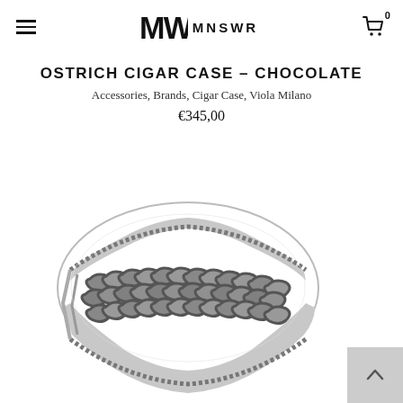MNSWR — navigation header with hamburger menu and cart (0 items)
OSTRICH CIGAR CASE – CHOCOLATE
Accessories, Brands, Cigar Case, Viola Milano
€345,00
[Figure (photo): Silver oxidized chain-link cuff bracelet/ring on white background]